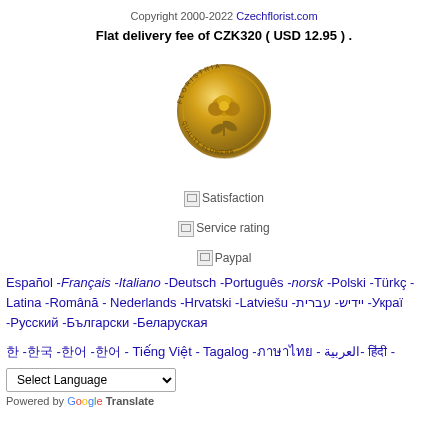Copyright 2000-2022 Czechflorist.com
Flat delivery fee of CZK320 ( USD 12.95 ) .
[Figure (illustration): Gold florist medal/badge with a rose engraving and text around the edge reading FLORISTRIA QUALITY FLOWERS]
[Figure (other): Broken image placeholder labeled Satisfaction]
[Figure (other): Broken image placeholder labeled Service rating]
[Figure (other): Broken image placeholder labeled Paypal]
Español -Français -Italiano -Deutsch -Português -norsk -Polski -Türkçe -Latina -Română - Nederlands -Hrvatski -Latviešu -יידיש- עברית -Украї -Русский -Български -Беларуская
한 -한국 -한어 -한어 - Tiếng Việt - Tagalog -ภาษาไทย - العربية -हिंदी -
Select Language — Powered by Google Translate